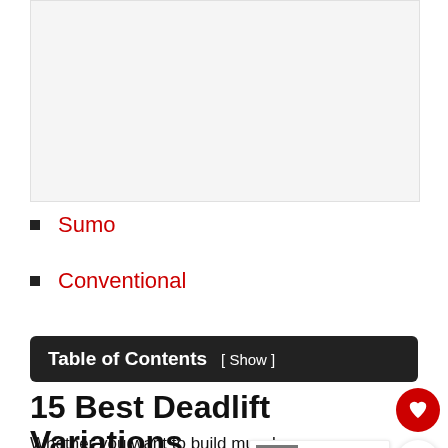[Figure (photo): Image placeholder at top of page]
Sumo
Conventional
Table of Contents [ Show ]
15 Best Deadlift Variations
Whether you want to build muscle or increase your deadlift 1RM, these variations will help. place of standard deadlifts or as a secondary